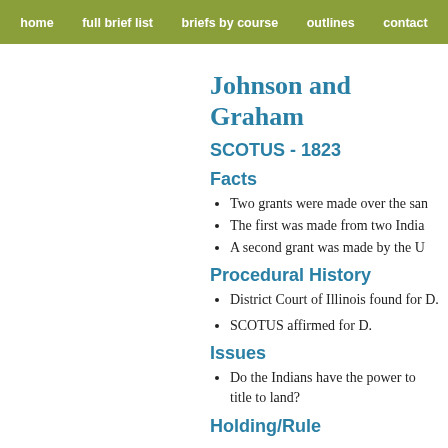home   full brief list   briefs by course   outlines   contact
Johnson and Graham
SCOTUS - 1823
Facts
Two grants were made over the same land.
The first was made from two Indians.
A second grant was made by the United States.
Procedural History
District Court of Illinois found for D.
SCOTUS affirmed for D.
Issues
Do the Indians have the power to give title to land?
Holding/Rule